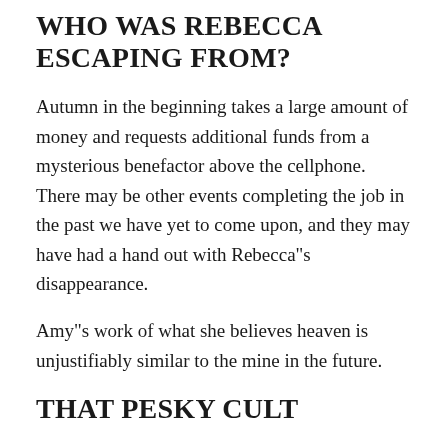WHO WAS REBECCA ESCAPING FROM?
Autumn in the beginning takes a large amount of money and requests additional funds from a mysterious benefactor above the cellphone. There may be other events completing the job in the past we have yet to come upon, and they may have had a hand out with Rebecca"s disappearance.
Amy"s work of what she believes heaven is unjustifiably similar to the mine in the future.
THAT PESKY CULT
Autumn will soon become the leader of a cult in the future, where the associates wear yellow uniforms. While its distinct, they are keen on mining the black powder, but their grand designs are a different mystery that will be unraveled. In the